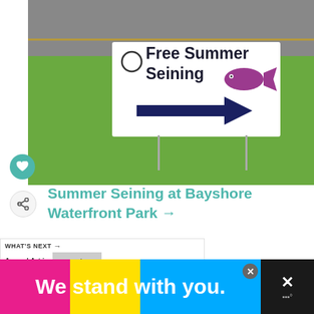[Figure (photo): A yard sign reading 'Free Summer Seining' with a purple fish graphic and a dark blue arrow pointing right, placed in grass beside a road.]
Summer Seining at Bayshore Waterfront Park →
WHAT'S NEXT → Annual Art in the Park at...
[Figure (screenshot): Advertisement banner: multicolor pink, yellow, blue strip with text 'We stand with you.' in white bold letters, close button, and right panel with X icon.]